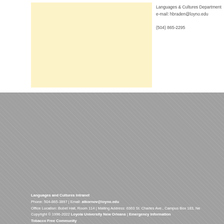[Figure (other): Yellow/cream colored placeholder box on white background]
Languages & Cultures Department
e-mail: hbraden@loyno.edu

(504) 865-2295
Languages and Cultures Intranet
Phone: 504-865-3897 | Email: atkornov@loyno.edu
Office Location: Bobet Hall, Room 114 | Mailing Address: 6363 St. Charles Ave., Campus Box 183, Ne
Copyright © 1996-2022 Loyola University New Orleans | Emergency Information
Tobacco Free Community
POPULAR SEARCHES
Campus Maps
Tuition
Housing
Transcripts
Employment at Loyola
Academic Calendars
Bookstore
Employola
Study Abroad
Student Records
Parking Services